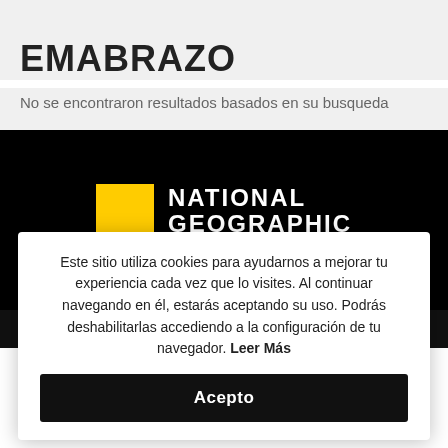EMABRAZO
No se encontraron resultados basados en su busqueda
[Figure (logo): National Geographic en Español logo — yellow rectangle icon with white text NATIONAL GEOGRAPHIC EN ESPAÑOL on black background]
AVISO DE PRIVACIDAD   CARAS   COCINA FÁCIL   VANIDADES
Este sitio utiliza cookies para ayudarnos a mejorar tu experiencia cada vez que lo visites. Al continuar navegando en él, estarás aceptando su uso. Podrás deshabilitarlas accediendo a la configuración de tu navegador. Leer Más
Acepto